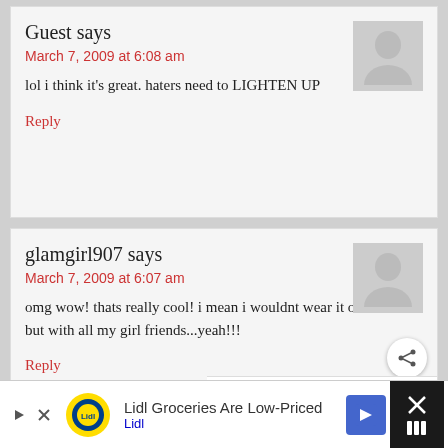Guest says
March 7, 2009 at 6:08 am
lol i think it's great. haters need to LIGHTEN UP
Reply
glamgirl907 says
March 7, 2009 at 6:07 am
omg wow! thats really cool! i mean i wouldnt wear it on a date but with all my girl friends...yeah!!!
Reply
Guest says
Lidl Groceries Are Low-Priced
Lidl